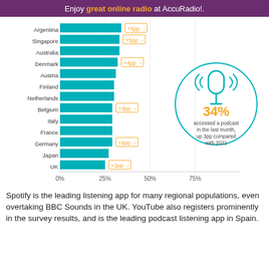Enjoy great online radio at AccuRadio!.
[Figure (bar-chart): Podcast access in last month by country]
Spotify is the leading listening app for many regional populations, even overtaking BBC Sounds in the UK. YouTube also registers prominently in the survey results, and is the leading podcast listening app in Spain.